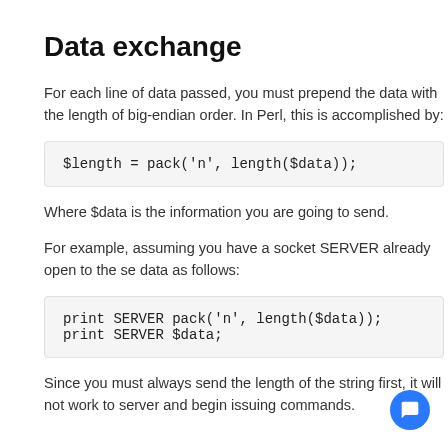Data exchange
For each line of data passed, you must prepend the data with the length of big-endian order. In Perl, this is accomplished by:
Where $data is the information you are going to send.
For example, assuming you have a socket SERVER already open to the server data as follows:
Since you must always send the length of the string first, it will not work to server and begin issuing commands.